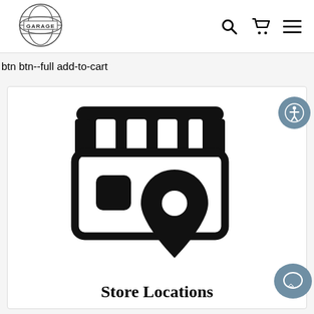[Figure (logo): Garage brand logo - globe with GARAGE text inside, circular line art]
[Figure (other): Navigation icons: search (magnifying glass), cart (shopping bag/cart), and hamburger menu lines]
btn btn--full add-to-cart
[Figure (other): Store locations icon: storefront with awning and a location pin marker, bold black line art. Accompanied by accessibility icon (person in circle), Reviews tab, and chat bubble button.]
Store Locations